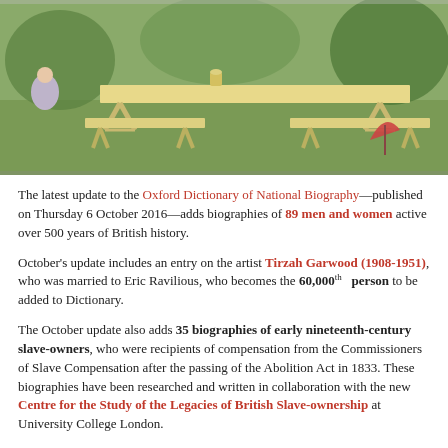[Figure (illustration): A painting showing wooden trestle tables and benches in an outdoor garden or field setting, with figures visible in the background. The style is impressionistic with yellow-green tones.]
The latest update to the Oxford Dictionary of National Biography—published on Thursday 6 October 2016—adds biographies of 89 men and women active over 500 years of British history.
October's update includes an entry on the artist Tirzah Garwood (1908-1951), who was married to Eric Ravilious, who becomes the 60,000th person to be added to Dictionary.
The October update also adds 35 biographies of early nineteenth-century slave-owners, who were recipients of compensation from the Commissioners of Slave Compensation after the passing of the Abolition Act in 1833. These biographies have been researched and written in collaboration with the new Centre for the Study of the Legacies of British Slave-ownership at University College London.
New figures include John Stewart (1789-1860), a slave owner in